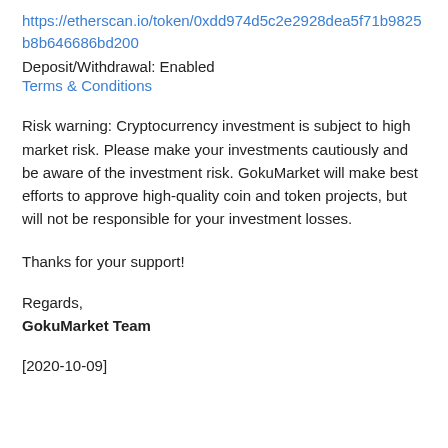https://etherscan.io/token/0xdd974d5c2e2928dea5f71b9825b8b646686bd200
Deposit/Withdrawal: Enabled
Terms & Conditions
Risk warning: Cryptocurrency investment is subject to high market risk. Please make your investments cautiously and be aware of the investment risk. GokuMarket will make best efforts to approve high-quality coin and token projects, but will not be responsible for your investment losses.
Thanks for your support!
Regards,
GokuMarket Team
[2020-10-09]